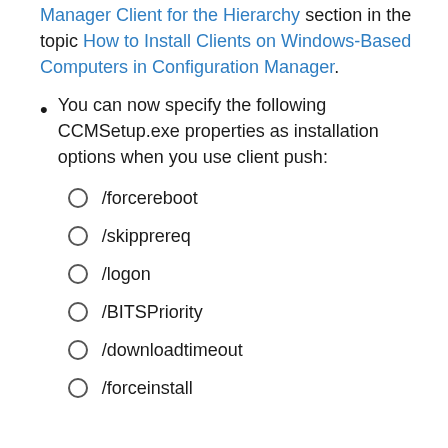Manager Client for the Hierarchy section in the topic How to Install Clients on Windows-Based Computers in Configuration Manager.
You can now specify the following CCMSetup.exe properties as installation options when you use client push:
/forcereboot
/skipprereq
/logon
/BITSPriority
/downloadtimeout
/forceinstall